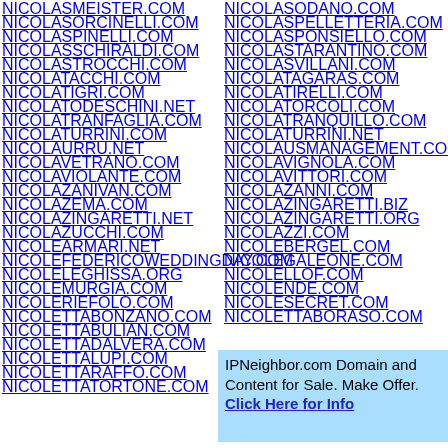NICOLASMEISTER.COM
NICOLASORCINELLI.COM
NICOLASPINELLI.COM
NICOLASSCHIRALDI.COM
NICOLASTROCCHI.COM
NICOLATACCHI.COM
NICOLATIGRI.COM
NICOLATODESCHINI.NET
NICOLATRANFAGLIA.COM
NICOLATURRINI.COM
NICOLAURRU.NET
NICOLAVETRANO.COM
NICOLAVIOLANTE.COM
NICOLAZANIVAN.COM
NICOLAZEMA.COM
NICOLAZINGARETTI.NET
NICOLAZUCCHI.COM
NICOLEARMARI.NET
NICOLEFEDERICOWEDDINGDAY.COM
NICOLELEGHISSA.ORG
NICOLEMURGIA.COM
NICOLERIEFOLO.COM
NICOLETTABONZANO.COM
NICOLETTABULIAN.COM
NICOLETTADALVERA.COM
NICOLETTALUPI.COM
NICOLETTARAFFO.COM
NICOLETTATORTONE.COM
NICOLASODANO.COM
NICOLASPELLETTERIA.COM
NICOLASPONSIELLO.COM
NICOLASTARANTINO.COM
NICOLASVILLANI.COM
NICOLATAGARAS.COM
NICOLATIRELLI.COM
NICOLATORCOLI.COM
NICOLATRANQUILLO.COM
NICOLATURRINI.NET
NICOLAUSMANAGEMENT.COM
NICOLAVIGNOLA.COM
NICOLAVITTORI.COM
NICOLAZANNI.COM
NICOLAZINGARETTI.BIZ
NICOLAZINGARETTI.ORG
NICOLAZZI.COM
NICOLEBERGEL.COM
NICOLEGALEONE.COM
NICOLELLOF.COM
NICOLENDE.COM
NICOLESECRET.COM
NICOLETTABORASO.COM
IPNeighbor.com Domain and Content for Sale. Make Offer. Click Here for Info